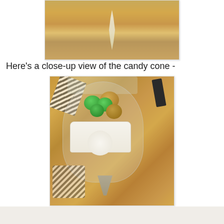[Figure (photo): Top portion of a candy cone craft project showing a wooden table surface with a white feather/doily decoration visible at the bottom of a transparent cone wrapper]
Here's a close-up view of the candy cone -
[Figure (photo): Close-up photograph of a candy cone gift: a clear cone-shaped bag filled with green and gold foil-wrapped chocolates (Lindt truffles), decorated with a white lace/doily flower embellishment, striped black-and-white ribbon, and a dark bow at the top, sitting on a wooden table surface]